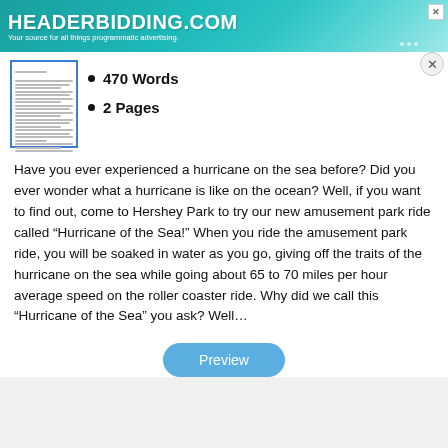[Figure (screenshot): HEADERBIDDING.COM advertisement banner — blue/teal gradient background with white bold text 'HEADERBIDDING.COM' and subtitle 'Your source for all things programmatic advertising.']
[Figure (screenshot): Thumbnail preview of a document page with horizontal lines representing text]
470 Words
2 Pages
Have you ever experienced a hurricane on the sea before? Did you ever wonder what a hurricane is like on the ocean? Well, if you want to find out, come to Hershey Park to try our new amusement park ride called “Hurricane of the Sea!” When you ride the amusement park ride, you will be soaked in water as you go, giving off the traits of the hurricane on the sea while going about 65 to 70 miles per hour average speed on the roller coaster ride. Why did we call this “Hurricane of the Sea” you ask? Well…
Preview